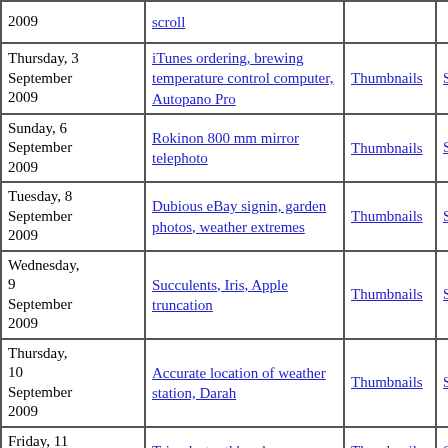| Date | Topic | Thumbnails | Small photos | diary |
| --- | --- | --- | --- | --- |
| 2009 | scroll |  |  |  |
| Thursday, 3 September 2009 | iTunes ordering, brewing temperature control computer, Autopano Pro | Thumbnails | Small photos | diary |
| Sunday, 6 September 2009 | Rokinon 800 mm mirror telephoto | Thumbnails | Small photos | diary |
| Tuesday, 8 September 2009 | Dubious eBay signin, garden photos, weather extremes | Thumbnails | Small photos | diary |
| Wednesday, 9 September 2009 | Succulents, Iris, Apple truncation | Thumbnails | Small photos | diary |
| Thursday, 10 September 2009 | Accurate location of weather station, Darah | Thumbnails | Small photos | diary |
| Friday, 11 September ... | Tripods, toothbrushes, ... | Thumbnails | Small | diary |